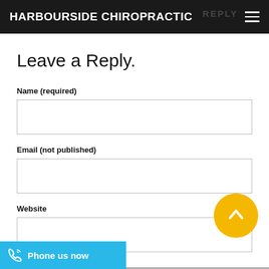HARBOURSIDE CHIROPRACTIC
Leave a Reply.
Name (required)
Email (not published)
Website
Phone us now